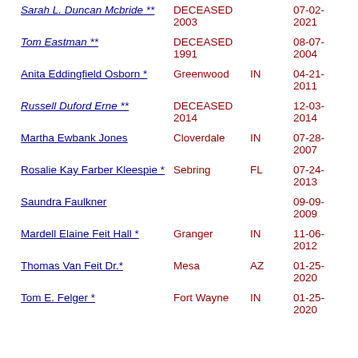| Name | City | State | Date |
| --- | --- | --- | --- |
| Sarah L. Duncan Mcbride ** | DECEASED 2003 |  | 07-02-2021 |
| Tom Eastman ** | DECEASED 1991 |  | 08-07-2004 |
| Anita Eddingfield Osborn * | Greenwood | IN | 04-21-2011 |
| Russell Duford Erne ** | DECEASED 2014 |  | 12-03-2014 |
| Martha Ewbank Jones | Cloverdale | IN | 07-28-2007 |
| Rosalie Kay Farber Kleespie * | Sebring | FL | 07-24-2013 |
| Saundra Faulkner |  |  | 09-09-2009 |
| Mardell Elaine Feit Hall * | Granger | IN | 11-06-2012 |
| Thomas Van Feit Dr.* | Mesa | AZ | 01-25-2020 |
| Tom E. Felger * | Fort Wayne | IN | 01-25-2020 |